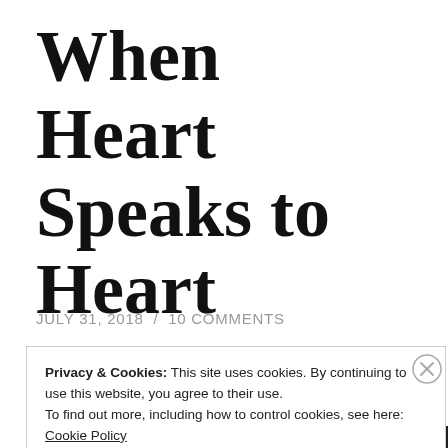When Heart Speaks to Heart
JULY 31, 2018 / 10 COMMENTS
Privacy & Cookies: This site uses cookies. By continuing to use this website, you agree to their use.
To find out more, including how to control cookies, see here: Cookie Policy
Close and accept